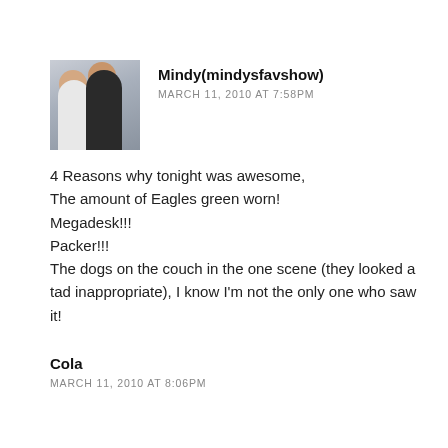[Figure (photo): Small square avatar photo showing two women posing together]
Mindy(mindysfavshow)
MARCH 11, 2010 AT 7:58PM
4 Reasons why tonight was awesome,
The amount of Eagles green worn!
Megadesk!!!
Packer!!!
The dogs on the couch in the one scene (they looked a tad inappropriate), I know I'm not the only one who saw it!
Cola
MARCH 11, 2010 AT 8:06PM